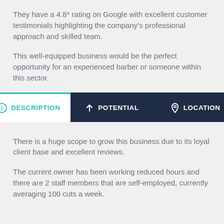They have a 4.8* rating on Google with excellent customer testimonials highlighting the company's professional approach and skilled team.
This well-equipped business would be the perfect opportunity for an experienced barber or someone within this sector.
[Figure (infographic): Navigation tab bar with three tabs: DESCRIPTION (active, white background, teal icon and text), POTENTIAL (dark navy background, white arrow icon and text), LOCATION (dark navy background, white pin icon and text)]
There is a huge scope to grow this business due to its loyal client base and excellent reviews.
The current owner has been working reduced hours and there are 2 staff members that are self-employed, currently averaging 100 cuts a week.